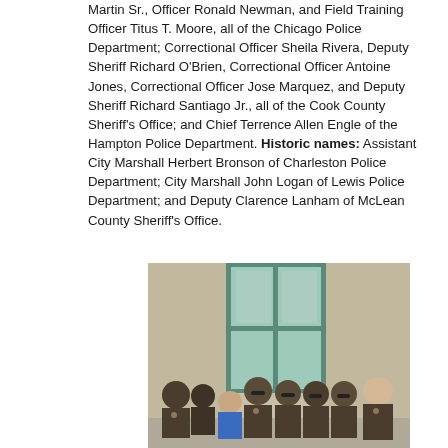Martin Sr., Officer Ronald Newman, and Field Training Officer Titus T. Moore, all of the Chicago Police Department; Correctional Officer Sheila Rivera, Deputy Sheriff Richard O'Brien, Correctional Officer Antoine Jones, Correctional Officer Jose Marquez, and Deputy Sheriff Richard Santiago Jr., all of the Cook County Sheriff's Office; and Chief Terrence Allen Engle of the Hampton Police Department. Historic names: Assistant City Marshall Herbert Bronson of Charleston Police Department; City Marshall John Logan of Lewis Police Department; and Deputy Clarence Lanham of McLean County Sheriff's Office.
[Figure (photo): Group photo of approximately 8 law enforcement officers in brown uniforms and one woman in a blue blazer, standing outdoors in front of a stone building with a teal/green window.]